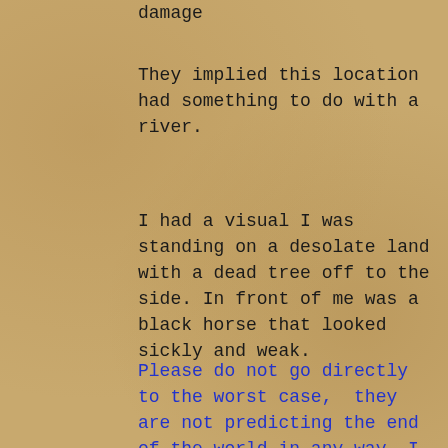damage
They implied this location had something to do with a river.
I had a visual I was standing on a desolate land with a dead tree off to the side. In front of me was a black horse that looked sickly and weak.
Please do not go directly to the worst case,  they are not predicting the end of the world in any way. I